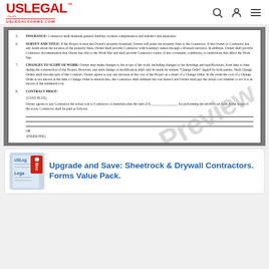USLegal - uslegalforms.com
[Figure (screenshot): Preview of a legal contract document showing sections 5 through 8, with a 'Preview' watermark diagonally across the page. Sections include Insurance, Survey and Title, Changes to Scope of Work, and Contract Price with Cost Plus and Fixed Fee options.]
Upgrade and Save: Sheetrock & Drywall Contractors. Forms Value Pack.